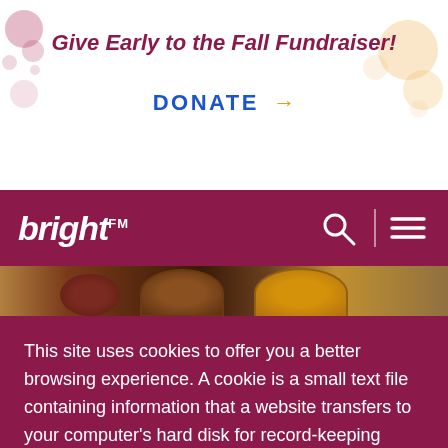Give Early to the Fall Fundraiser!
DONATE →
[Figure (logo): brightFM logo in white italic text on crimson navbar background, with search and menu icons]
[Figure (photo): Food photograph strip showing pies/baked goods in warm tones]
This site uses cookies to offer you a better browsing experience. A cookie is a small text file containing information that a website transfers to your computer's hard disk for record-keeping purposes and allows us to analyze our site traffic patterns. It does not contain chocolate chips, you cannot eat it, and there is no special hidden jar.
Accept